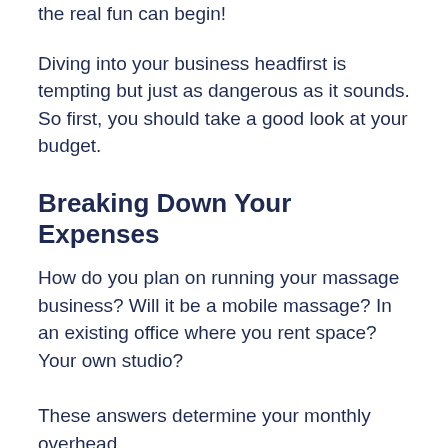the real fun can begin!
Diving into your business headfirst is tempting but just as dangerous as it sounds. So first, you should take a good look at your budget.
Breaking Down Your Expenses
How do you plan on running your massage business? Will it be a mobile massage? In an existing office where you rent space? Your own studio?
These answers determine your monthly overhead.
Make a list of your running costs, including fuel to get to and from your jobs, rent, utilities, insurance